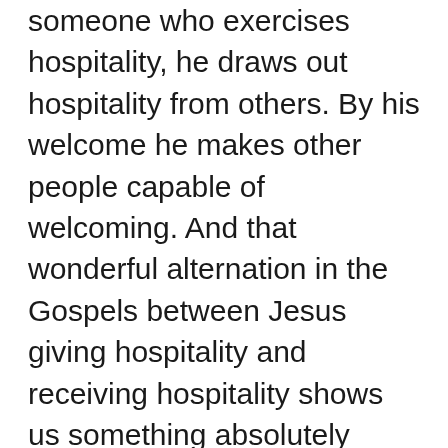someone who exercises hospitality, he draws out hospitality from others. By his welcome he makes other people capable of welcoming. And that wonderful alternation in the Gospels between Jesus giving hospitality and receiving hospitality shows us something absolutely essential about the Eucharist. We are the guests of Jesus. We are there because he asks us, and because he wants our company. At the same time we are set free to invite Jesus into our lives and literally to receive him into our bodies in the Eucharist. His